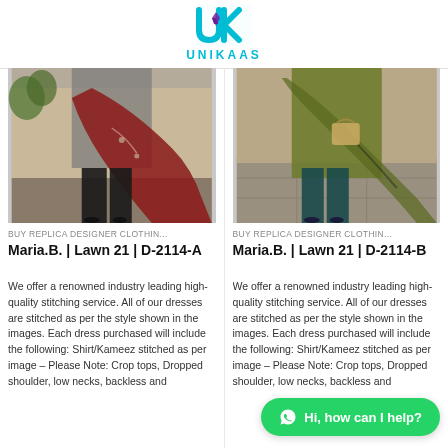[Figure (logo): UNIKAAS brand logo — stylized UK letters in teal/cyan with a purple tie, text UNIKAAS below]
[Figure (photo): Fashion photo of woman wearing grey and dark outfit with burgundy/maroon dupatta with floral embroidery — Maria.B Lawn 21 D-2114-A]
BUY REPLICA DESIGNER CLOTHIN...
Maria.B. | Lawn 21 | D-2114-A
We offer a renowned industry leading high-quality stitching service. All of our dresses are stitched as per the style shown in the images. Each dress purchased will include the following: Shirt/Kameez stitched as per image – Please Note: Crop tops, Dropped shoulder, low necks, backless and
[Figure (photo): Fashion photo of woman wearing olive green outfit with embroidered dupatta — Maria.B Lawn 21 D-2114-B]
BUY REPLICA DESIGNER CLOTHIN...
Maria.B. | Lawn 21 | D-2114-B
We offer a renowned industry leading high-quality stitching service. All of our dresses are stitched as per the style shown in the images. Each dress purchased will include the following: Shirt/Kameez stitched as per image – Please Note: Crop tops, Dropped shoulder, low necks, backless and
Hi, how can I help?